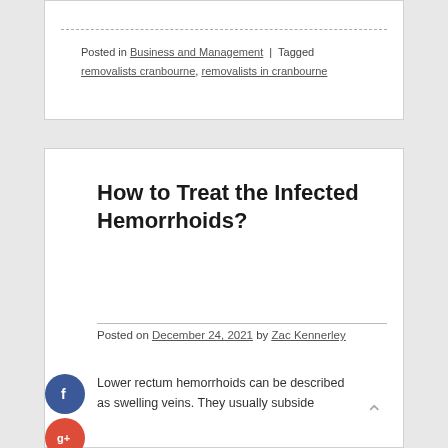Posted in Business and Management | Tagged removalists cranbourne, removalists in cranbourne
How to Treat the Infected Hemorrhoids?
Posted on December 24, 2021 by Zac Kennerley
Lower rectum hemorrhoids can be described as swelling veins. They usually subside